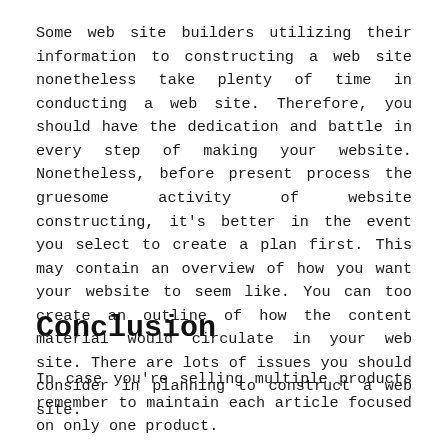Some web site builders utilizing their information to constructing a web site nonetheless take plenty of time in conducting a web site. Therefore, you should have the dedication and battle in every step of making your website. Nonetheless, before present process the gruesome activity of website constructing, it's better in the event you select to create a plan first. This may contain an overview of how you want your website to seem like. You can too create an outline of how the content material would circulate in your web site. There are lots of issues you should consider in planning to construct a web site.
Conclusion
In case you're selling multiple products remember to maintain each article focused on only one product.